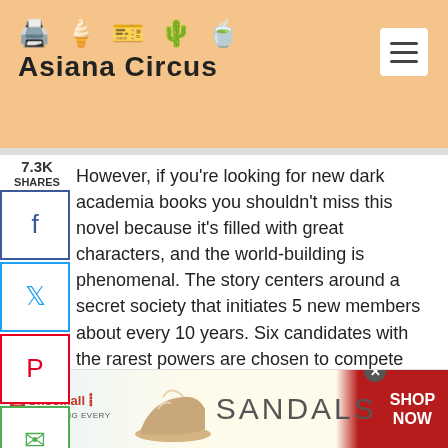Asiana Circus
However, if you're looking for new dark academia books you shouldn't miss this novel because it's filled with great characters, and the world-building is phenomenal. The story centers around a secret society that initiates 5 new members about every 10 years. Six candidates with the rarest powers are chosen to compete for a spot, like a fellowship, with a thrilling twist.
THE ATLAS SIX IS ONE OF THE
[Figure (screenshot): ShoeMall advertisement banner showing sandals with 'SHOP NOW' call to action]